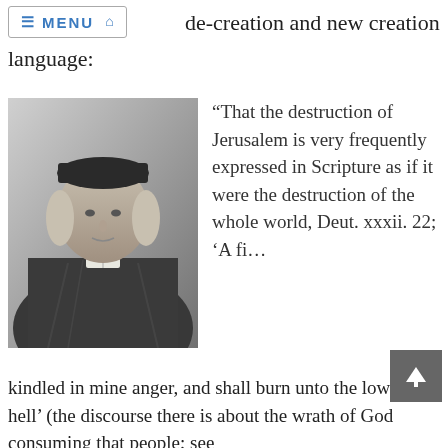de-creation and new creation language:
[Figure (photo): Black and white engraved portrait of a man wearing a cap and clerical robes, likely a 17th century Puritan theologian.]
“That the destruction of Jerusalem is very frequently expressed in Scripture as if it were the destruction of the whole world, Deut. xxxii. 22; ‘A fi… kindled in mine anger, and shall burn unto the lowest hell’ (the discourse there is about the wrath of God consuming that people; see